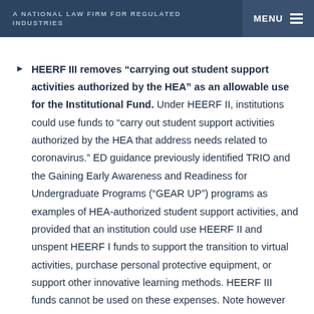A NATIONAL LAW FIRM FOR REGULATED INDUSTRIES | MENU
HEERF III removes “carrying out student support activities authorized by the HEA” as an allowable use for the Institutional Fund. Under HEERF II, institutions could use funds to “carry out student support activities authorized by the HEA that address needs related to coronavirus.” ED guidance previously identified TRIO and the Gaining Early Awareness and Readiness for Undergraduate Programs (“GEAR UP”) programs as examples of HEA-authorized student support activities, and provided that an institution could use HEERF II and unspent HEERF I funds to support the transition to virtual activities, purchase personal protective equipment, or support other innovative learning methods. HEERF III funds cannot be used on these expenses. Note however that HEERF III funds continue to allow